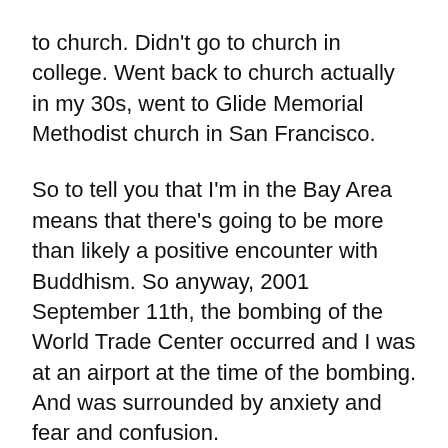to church. Didn't go to church in college. Went back to church actually in my 30s, went to Glide Memorial Methodist church in San Francisco.
So to tell you that I'm in the Bay Area means that there's going to be more than likely a positive encounter with Buddhism. So anyway, 2001 September 11th, the bombing of the World Trade Center occurred and I was at an airport at the time of the bombing. And was surrounded by anxiety and fear and confusion.
When I got home, I was still have that anxiety, fear, and confusion. I had absorbed, internalized it. And I was turning 40 in